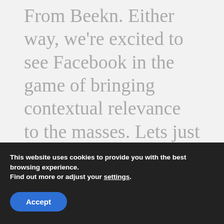From Beekn. Either way, we're excited to see Facebook in the game of bringing contextual relevance to the masses. Lets just never let this become spam 2.0, OK?"
Since Facebook and Apple only use Bluetooth
This website uses cookies to provide you with the best browsing experience.
Find out more or adjust your settings.